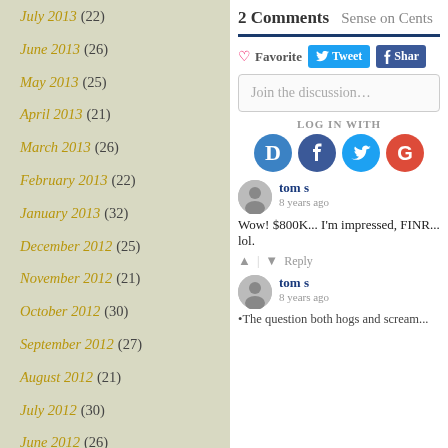July 2013 (22)
June 2013 (26)
May 2013 (25)
April 2013 (21)
March 2013 (26)
February 2013 (22)
January 2013 (32)
December 2012 (25)
November 2012 (21)
October 2012 (30)
September 2012 (27)
August 2012 (21)
July 2012 (30)
June 2012 (26)
May 2012 (34)
April 2012 (31)
March 2012 (31)
2 Comments  Sense on Cents
Favorite  Tweet  Share
Join the discussion…
LOG IN WITH
tom s
8 years ago
Wow! $800K... I'm impressed, FINR... lol.
tom s
8 years ago
•The question both hogs and scream...